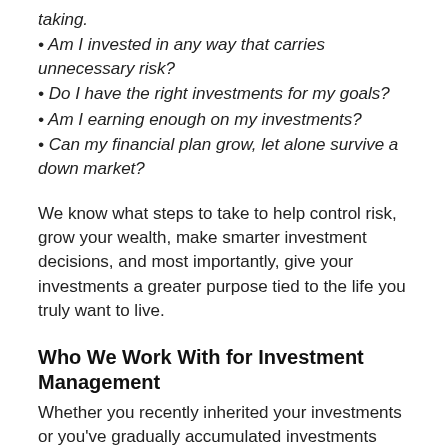• Am I invested in any way that carries unnecessary risk?
• Do I have the right investments for my goals?
• Am I earning enough on my investments?
• Can my financial plan grow, let alone survive a down market?
We know what steps to take to help control risk, grow your wealth, make smarter investment decisions, and most importantly, give your investments a greater purpose tied to the life you truly want to live.
Who We Work With for Investment Management
Whether you recently inherited your investments or you've gradually accumulated investments over the